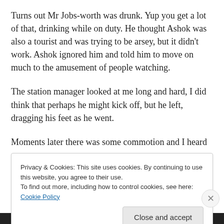Turns out Mr Jobs-worth was drunk. Yup you get a lot of that, drinking while on duty. He thought Ashok was also a tourist and was trying to be arsey, but it didn't work. Ashok ignored him and told him to move on much to the amusement of people watching.
The station manager looked at me long and hard, I did think that perhaps he might kick off, but he left, dragging his feet as he went.
Moments later there was some commotion and I heard
Privacy & Cookies: This site uses cookies. By continuing to use this website, you agree to their use.
To find out more, including how to control cookies, see here: Cookie Policy
Close and accept